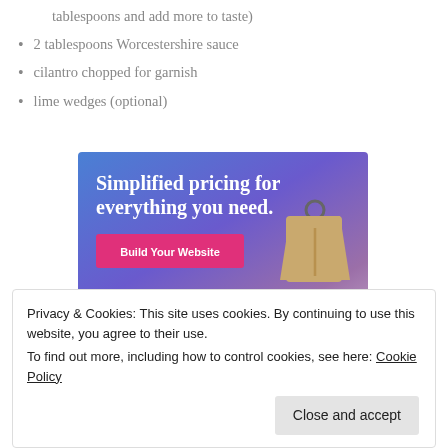tablespoons and add more to taste)
2 tablespoons Worcestershire sauce
cilantro chopped for garnish
lime wedges (optional)
[Figure (illustration): Advertisement banner with gradient blue-purple background, text 'Simplified pricing for everything you need.' in white, a pink 'Build Your Website' button, and a 3D price tag image on the right.]
Privacy & Cookies: This site uses cookies. By continuing to use this website, you agree to their use.
To find out more, including how to control cookies, see here: Cookie Policy
Close and accept